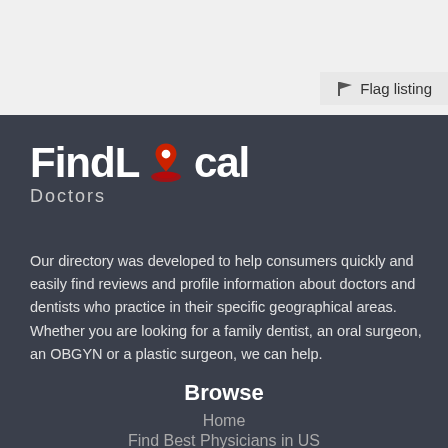[Figure (logo): FindLocal Doctors logo with red location pin icon on dark background]
Flag listing
Our directory was developed to help consumers quickly and easily find reviews and profile information about doctors and dentists who practice in their specific geographical areas. Whether you are looking for a family dentist, an oral surgeon, an OBGYN or a plastic surgeon, we can help.
Browse
Home
Find Best Physicians in US